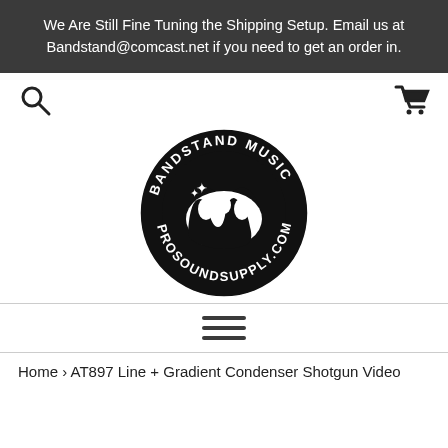We Are Still Fine Tuning the Shipping Setup. Email us at Bandstand@comcast.net if you need to get an order in.
[Figure (logo): Bandstand Music Pro Sound Supply circular logo — black circle with stylized white 'M' waveform graphic and text 'BANDSTAND MUSIC' on top arc and 'PROSOUNDSUPPLY.COM' on bottom arc]
Home › AT897 Line + Gradient Condenser Shotgun Video